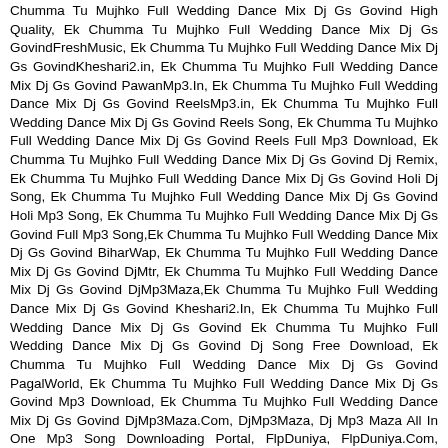Chumma Tu Mujhko Full Wedding Dance Mix Dj Gs Govind High Quality, Ek Chumma Tu Mujhko Full Wedding Dance Mix Dj Gs GovindFreshMusic, Ek Chumma Tu Mujhko Full Wedding Dance Mix Dj Gs GovindKheshari2.in, Ek Chumma Tu Mujhko Full Wedding Dance Mix Dj Gs Govind PawanMp3.In, Ek Chumma Tu Mujhko Full Wedding Dance Mix Dj Gs Govind ReelsMp3.in, Ek Chumma Tu Mujhko Full Wedding Dance Mix Dj Gs Govind Reels Song, Ek Chumma Tu Mujhko Full Wedding Dance Mix Dj Gs Govind Reels Full Mp3 Download, Ek Chumma Tu Mujhko Full Wedding Dance Mix Dj Gs Govind Dj Remix, Ek Chumma Tu Mujhko Full Wedding Dance Mix Dj Gs Govind Holi Dj Song, Ek Chumma Tu Mujhko Full Wedding Dance Mix Dj Gs Govind Holi Mp3 Song, Ek Chumma Tu Mujhko Full Wedding Dance Mix Dj Gs Govind Full Mp3 Song,Ek Chumma Tu Mujhko Full Wedding Dance Mix Dj Gs Govind BiharWap, Ek Chumma Tu Mujhko Full Wedding Dance Mix Dj Gs Govind DjMtr, Ek Chumma Tu Mujhko Full Wedding Dance Mix Dj Gs Govind DjMp3Maza,Ek Chumma Tu Mujhko Full Wedding Dance Mix Dj Gs Govind Kheshari2.In, Ek Chumma Tu Mujhko Full Wedding Dance Mix Dj Gs Govind Ek Chumma Tu Mujhko Full Wedding Dance Mix Dj Gs Govind Dj Song Free Download, Ek Chumma Tu Mujhko Full Wedding Dance Mix Dj Gs Govind PagalWorld, Ek Chumma Tu Mujhko Full Wedding Dance Mix Dj Gs Govind Mp3 Download, Ek Chumma Tu Mujhko Full Wedding Dance Mix Dj Gs Govind DjMp3Maza.Com, DjMp3Maza, Dj Mp3 Maza All In One Mp3 Song Downloading Portal, FlpDuniya, FlpDuniya.Com, DjFlpduniya - All In One Mp3 Song, DjShivaClub, DjShivaClub.Co, Dj Shiva Club - All In One Mp3 Song Downloading From DjShivaClub, DjAmanPbh, DjAmanPbh.Com, AmanPbhDj - All In One Mp3 Song, DjMusicVibration, DjMusicVibration , Dj Music Vibration, DjMusicVibration.Co.In, DjStarMusic, Dj Star Music, DjStarMusic.In, DjStarMusic.IN, Dj Gaane, DjGaane.Com All In One Mp3 Song Download Portal, AllahabadMusic, AllahabadMusic.Com, Allahabad Music, Dj Vikkrant Allahabad - Dj Vikkrant Prayagraj, DjAyodhya, DjBasti, DjAyodhya.In, DjAyodhya.Com All In One, Dj Mirzapur, Mirzapur Dj,